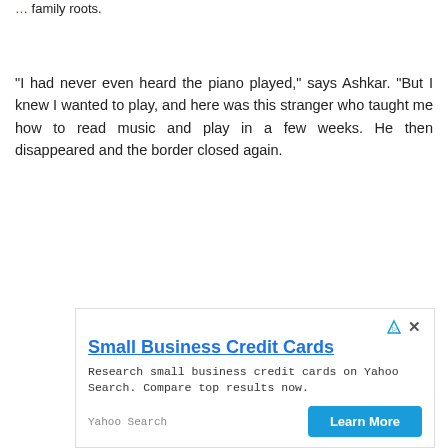family roots.
“I had never even heard the piano played,” says Ashkar. “But I knew I wanted to play, and here was this stranger who taught me how to read music and play in a few weeks. He then disappeared and the border closed again.
[Figure (screenshot): Advertisement for Small Business Credit Cards on Yahoo Search. Title: Small Business Credit Cards. Description: Research small business credit cards on Yahoo Search. Compare top results now. Source: Yahoo Search. Button: Learn More.]